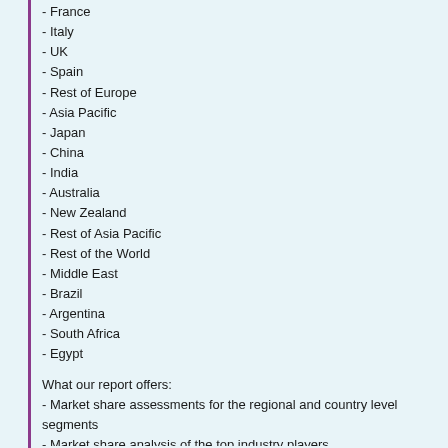- France
- Italy
- UK
- Spain
- Rest of Europe
- Asia Pacific
- Japan
- China
- India
- Australia
- New Zealand
- Rest of Asia Pacific
- Rest of the World
- Middle East
- Brazil
- Argentina
- South Africa
- Egypt
What our report offers:
- Market share assessments for the regional and country level segments
- Market share analysis of the top industry players
- Strategic recommendations for the new entrants
- Market forecasts for a minimum of 7 years of all the mentioned segments, sub regional markets
- Market Trends (Drivers, Constraints, Opportunities, Threats, Challenges, Inve recommendations)
- Strategic recommendations in key business segments based on the market es
- Competitive landscaping mapping the key common trends
- Company profiling with detailed strategies, financials, and recent developmen
- Supply chain trends mapping the latest technological advancements